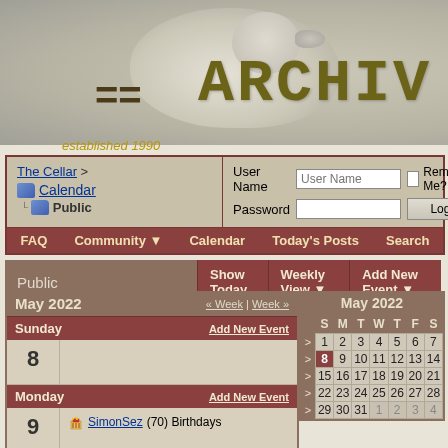[Figure (photo): Header banner with a bird (duck/goose) image and 'ARCHIV...' text partially visible, with '==' equals signs on the left side]
established 1990
| The Cellar > Calendar | User Name | [User Name field] | [checkbox] | Remember Me? |
| Public | Password | [Password field] |  | [Log in button] |
| FAQ | Community ▼ | Calendar | Today's Posts | Search |  |  |  |  |
| Public | Show Today | Weekly View ▼ | Add New Event ▼ |
| --- | --- | --- | --- |
| May 2022 | « Week | Week » |
| --- | --- |
| Sunday | Add New Event |
| 8 |  |
| Monday | Add New Event |
| 9 | 🎂 SimonSez (70) Birthdays |
| Tuesday | Add New Event |
| May 2022 | S | M | T | W | T | F | S |
| --- | --- | --- | --- | --- | --- | --- | --- |
| > | 1 | 2 | 3 | 4 | 5 | 6 | 7 |
| > | 8 | 9 | 10 | 11 | 12 | 13 | 14 |
| > | 15 | 16 | 17 | 18 | 19 | 20 | 21 |
| > | 22 | 23 | 24 | 25 | 26 | 27 | 28 |
| > | 29 | 30 | 31 | 1 | 2 | 3 | 4 |